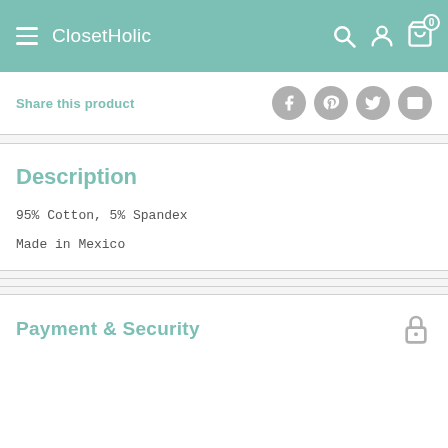ClosetHolic
Share this product
Description
95% Cotton, 5% Spandex
Made in Mexico
Payment & Security